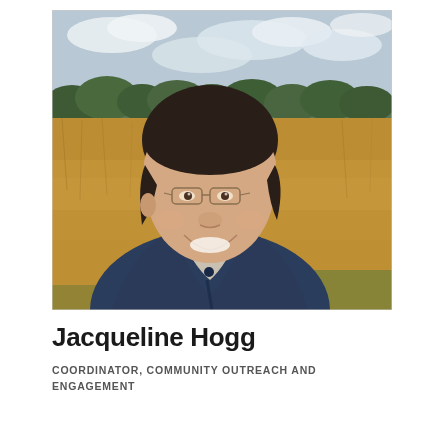[Figure (photo): A woman with dark hair pulled back, wearing glasses and a navy blue jacket over a light-colored collared shirt, smiling and taking a selfie outdoors. The background shows a golden-brown grassy field with trees along the horizon and an overcast sky.]
Jacqueline Hogg
COORDINATOR, COMMUNITY OUTREACH AND ENGAGEMENT